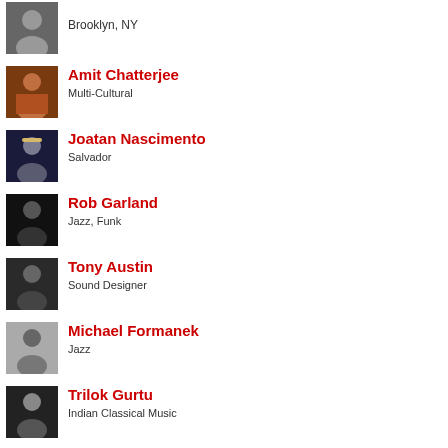Brooklyn, NY
Amit Chatterjee
Multi-Cultural
Joatan Nascimento
Salvador
Rob Garland
Jazz, Funk
Tony Austin
Sound Designer
Michael Formanek
Jazz
Trilok Gurtu
Indian Classical Music
Fred Hersch